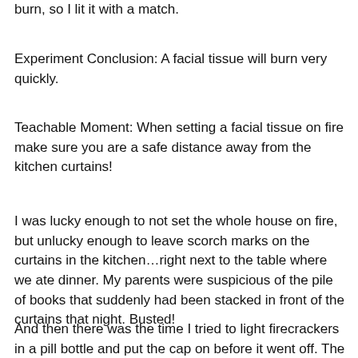burn, so I lit it with a match.
Experiment Conclusion: A facial tissue will burn very quickly.
Teachable Moment: When setting a facial tissue on fire make sure you are a safe distance away from the kitchen curtains!
I was lucky enough to not set the whole house on fire, but unlucky enough to leave scorch marks on the curtains in the kitchen…right next to the table where we ate dinner. My parents were suspicious of the pile of books that suddenly had been stacked in front of the curtains that night. Busted!
And then there was the time I tried to light firecrackers in a pill bottle and put the cap on before it went off. The